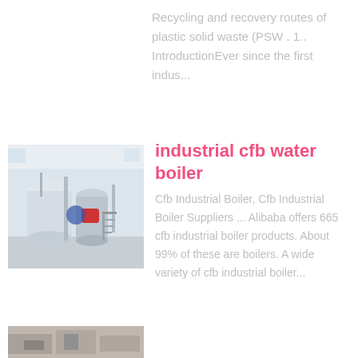Recycling and recovery routes of plastic solid waste (PSW . 1.. IntroductionEver since the first indus...
[Figure (photo): Photo of industrial CFB water boiler equipment inside a large facility building, showing large cylindrical tanks, pipes, and metal staircases.]
industrial cfb water boiler
Cfb Industrial Boiler, Cfb Industrial Boiler Suppliers ... Alibaba offers 665 cfb industrial boiler products. About 99% of these are boilers. A wide variety of cfb industrial boiler...
[Figure (photo): Partial bottom strip showing another industrial boiler or related machinery image, cropped.]